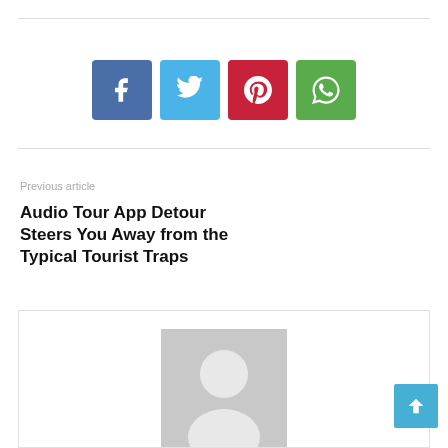[Figure (infographic): Four social media share buttons: Facebook (dark blue), Twitter (light blue), Pinterest (red), WhatsApp (green), each with their respective icons]
Previous article
Audio Tour App Detour Steers You Away from the Typical Tourist Traps
[Figure (photo): Default user avatar placeholder image — grey silhouette of a person on a light grey background]